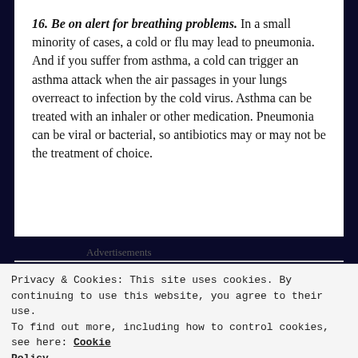16. Be on alert for breathing problems. In a small minority of cases, a cold or flu may lead to pneumonia. And if you suffer from asthma, a cold can trigger an asthma attack when the air passages in your lungs overreact to infection by the cold virus. Asthma can be treated with an inhaler or other medication. Pneumonia can be viral or bacterial, so antibiotics may or may not be the treatment of choice.
Advertisements
Privacy & Cookies: This site uses cookies. By continuing to use this website, you agree to their use.
To find out more, including how to control cookies, see here: Cookie Policy